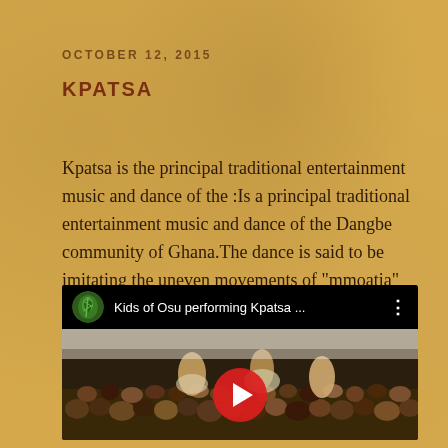OCTOBER 12, 2015
KPATSA
Kpatsa is the principal traditional entertainment music and dance of the :Is a principal traditional entertainment music and dance of the Dangbe community of Ghana.The dance is said to be imitating the uneven movements of "mmoatia" (dwarfs)
[Figure (screenshot): YouTube video embed showing 'Kids of Osu performing Kpatsa ...' with a crowd of children watching a performance, with a red YouTube play button in the center.]